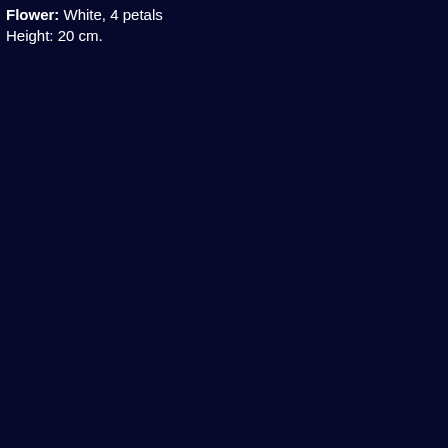Flower: White, 4 petals
Height: 20 cm.